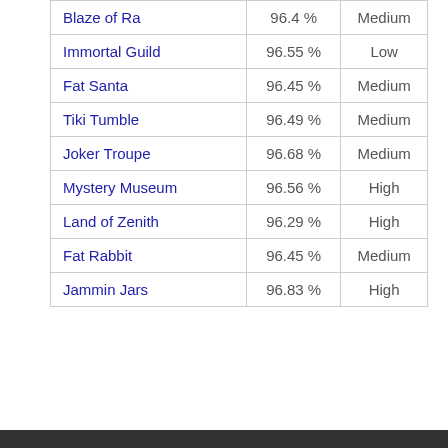| Blaze of Ra | 96.4 % | Medium |
| Immortal Guild | 96.55 % | Low |
| Fat Santa | 96.45 % | Medium |
| Tiki Tumble | 96.49 % | Medium |
| Joker Troupe | 96.68 % | Medium |
| Mystery Museum | 96.56 % | High |
| Land of Zenith | 96.29 % | High |
| Fat Rabbit | 96.45 % | Medium |
| Jammin Jars | 96.83 % | High |